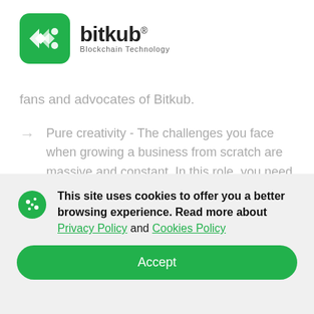[Figure (logo): Bitkub Blockchain Technology logo with green diamond/arrow icon and text 'bitkub Blockchain Technology']
fans and advocates of Bitkub.
Pure creativity - The challenges you face when growing a business from scratch are massive and constant. In this role, you need the creativity to solve those problems; to influence the partners we work with, for instance; to communicate with users;
This site uses cookies to offer you a better browsing experience. Read more about Privacy Policy and Cookies Policy
Accept